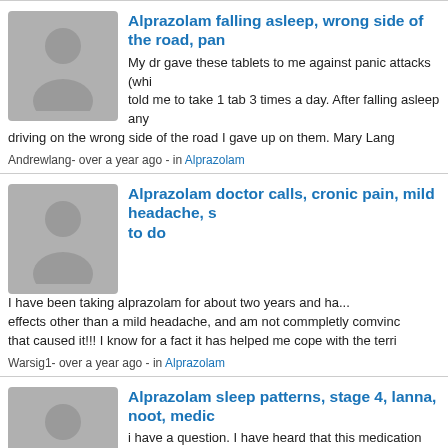Alprazolam falling asleep, wrong side of the road, pan...
My dr gave these tablets to me against panic attacks (which told me to take 1 tab 3 times a day. After falling asleep any driving on the wrong side of the road I gave up on them. Mary Lang
Andrewlang- over a year ago - in Alprazolam
Alprazolam doctor calls, cronic pain, mild headache, s... to do
I have been taking alprazolam for about two years and ha... effects other than a mild headache, and am not commpletly comvinc... that caused it!!! I know for a fact it has helped me cope with the terri...
Warsig1- over a year ago - in Alprazolam
Alprazolam sleep patterns, stage 4, lanna, noot, medic...
i have a question. I have heard that this medication does n... restorative sleep patterns. Could someone please comme...
Lanna
Sealanna- over a year ago - in Alprazolam